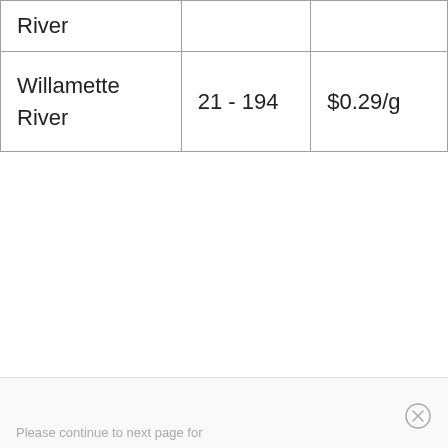| River |  | $0.29/g… |
| Willamette River | 21 - 194 | $0.29/g… |
Please continue to next page for…